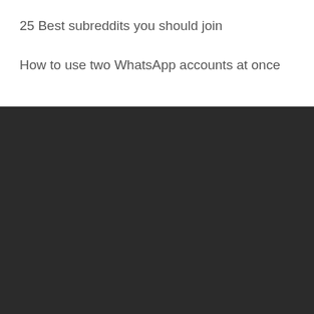25 Best subreddits you should join
How to use two WhatsApp accounts at once